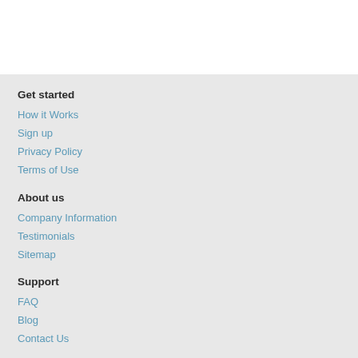Get started
How it Works
Sign up
Privacy Policy
Terms of Use
About us
Company Information
Testimonials
Sitemap
Support
FAQ
Blog
Contact Us
[Figure (illustration): Social media icons: Twitter bird and Facebook f, circular blue buttons]